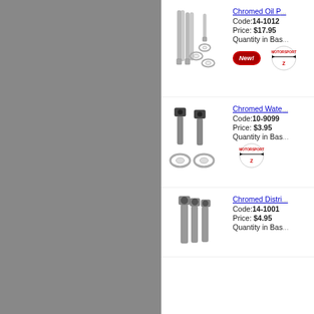[Figure (photo): Gray sidebar panel on the left half of the page]
[Figure (photo): Chromed oil pump bolt kit with long bolts and washers]
Chromed Oil P... Code:14-1012 Price: $17.95 Quantity in Bas...
[Figure (logo): New! badge and Motorsport Z logo]
[Figure (photo): Chromed water pump bolts and washers]
Chromed Wate... Code:10-9099 Price: $3.95 Quantity in Bas...
[Figure (logo): Motorsport Z logo]
[Figure (photo): Chromed distributor bolts]
Chromed Distri... Code:14-1001 Price: $4.95 Quantity in Bas...